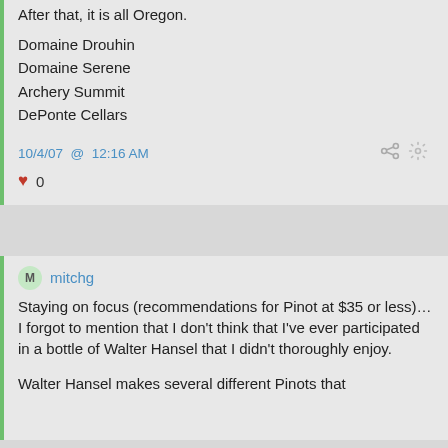After that, it is all Oregon.
Domaine Drouhin
Domaine Serene
Archery Summit
DePonte Cellars
10/4/07 @ 12:16 AM
♥ 0
mitchg
Staying on focus (recommendations for Pinot at $35 or less)… I forgot to mention that I don't think that I've ever participated in a bottle of Walter Hansel that I didn't thoroughly enjoy.
Walter Hansel makes several different Pinots that